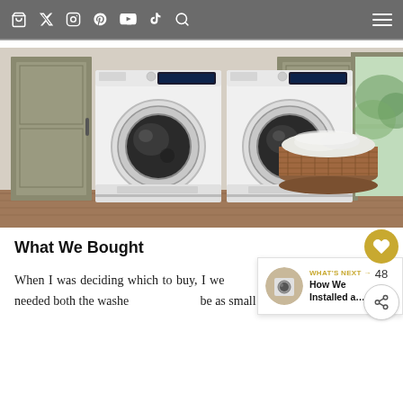Navigation bar with social icons: bag, twitter, instagram, pinterest, youtube, tiktok, search, and hamburger menu
[Figure (photo): A laundry room with two white front-loading washing machines (washer and dryer) side-by-side, flanked by olive-green cabinetry, with a wicker laundry basket filled with white linens, and a window showing greenery outside.]
What We Bought
When I was deciding which to buy, I went with measurements because I needed both the washer and dryer to be as small as possible.